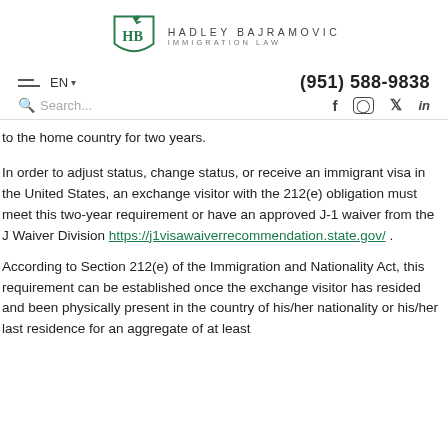[Figure (logo): Hadley Bajramovic Immigration Law logo — green shield with HB initials and a bird, with firm name in spaced letters]
EN ▾   (951) 588-9838
Search...   f  ○  ♦  in
to the home country for two years.
In order to adjust status, change status, or receive an immigrant visa in the United States, an exchange visitor with the 212(e) obligation must meet this two-year requirement or have an approved J-1 waiver from the J Waiver Division https://j1visawaiverrecommendation.state.gov/ .
According to Section 212(e) of the Immigration and Nationality Act, this requirement can be established once the exchange visitor has resided and been physically present in the country of his/her nationality or his/her last residence for an aggregate of at least